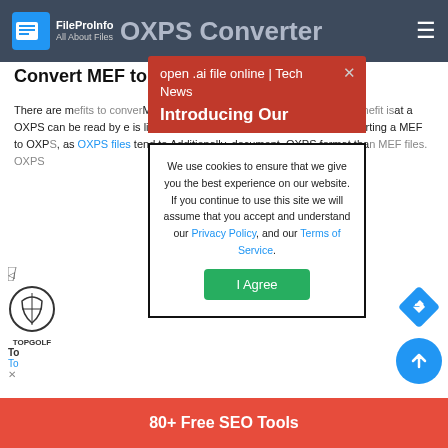OXPS Converter — FileProInfo All About Files
Convert MEF to OXPS online for free
There are many benefits to converting a MEF file to OXPS. Perhaps the most obvious benefit is that a OXPS can be read by more applications as use is limited to devices that support MEF. By converting a MEF to OXPS, as OXPS files tend to Additionally, document, OXPS format that an MEF files. OXPS
open .ai file online | Tech News
Introducing Our
We use cookies to ensure that we give you the best experience on our website. If you continue to use this site we will assume that you accept and understand our Privacy Policy, and our Terms of Service.
I Agree
[Figure (logo): Topgolf logo with navigation arrow ad]
80+ Free SEO Tools